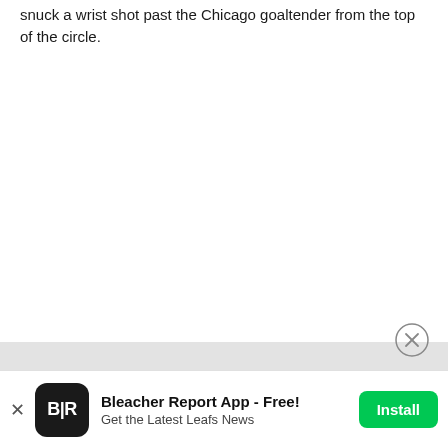snuck a wrist shot past the Chicago goaltender from the top of the circle.
[Figure (screenshot): Close circle dismiss button overlay near bottom of page]
Bleacher Report App - Free! Get the Latest Leafs News | Install